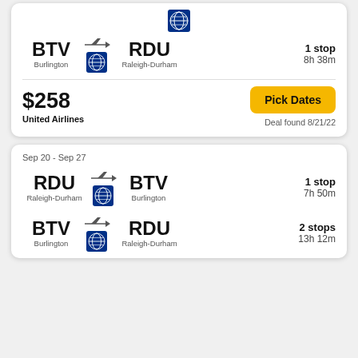[Figure (screenshot): Flight search result card 1: BTV Burlington to RDU Raleigh-Durham, 1 stop, 8h 38m, $258, United Airlines, Deal found 8/21/22, Pick Dates button]
Sep 20 - Sep 27
[Figure (screenshot): Flight search result card 2 row 1: RDU Raleigh-Durham to BTV Burlington, 1 stop, 7h 50m]
[Figure (screenshot): Flight search result card 2 row 2: BTV Burlington to RDU Raleigh-Durham, 2 stops, 13h 12m]